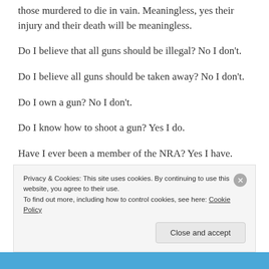those murdered to die in vain. Meaningless, yes their injury and their death will be meaningless.
Do I believe that all guns should be illegal? No I don't.
Do I believe all guns should be taken away? No I don't.
Do I own a gun? No I don't.
Do I know how to shoot a gun? Yes I do.
Have I ever been a member of the NRA? Yes I have.
Privacy & Cookies: This site uses cookies. By continuing to use this website, you agree to their use.
To find out more, including how to control cookies, see here: Cookie Policy
Close and accept